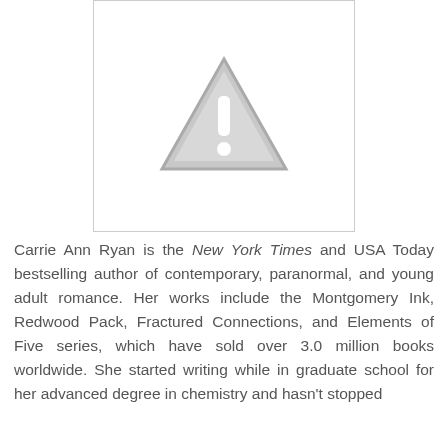[Figure (illustration): A grey warning/caution triangle icon with an exclamation mark, indicating a missing or unavailable image placeholder.]
Carrie Ann Ryan is the New York Times and USA Today bestselling author of contemporary, paranormal, and young adult romance. Her works include the Montgomery Ink, Redwood Pack, Fractured Connections, and Elements of Five series, which have sold over 3.0 million books worldwide. She started writing while in graduate school for her advanced degree in chemistry and hasn't stopped